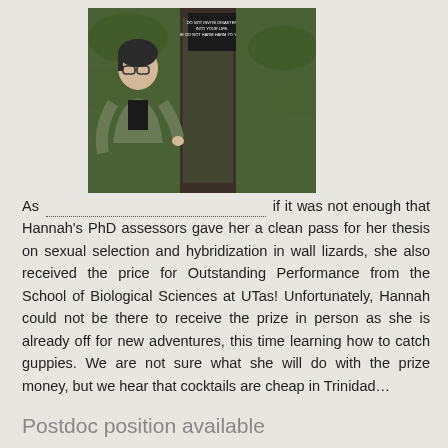[Figure (photo): A woman with glasses wearing a green jacket standing next to a tree with a sign in a forested area]
As [link] if it was not enough that Hannah's PhD assessors gave her a clean pass for her thesis on sexual selection and hybridization in wall lizards, she also received the price for Outstanding Performance from the School of Biological Sciences at UTas! Unfortunately, Hannah could not be there to receive the prize in person as she is already off for new adventures, this time learning how to catch guppies. We are not sure what she will do with the prize money, but we hear that cocktails are cheap in Trinidad…
Postdoc position available